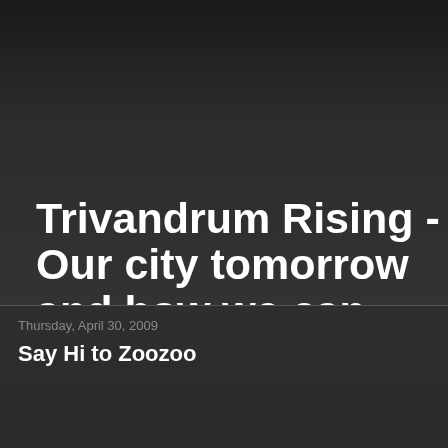Trivandrum Rising - Our city tomorrow and how we can help it develop.
A blog about a great Indian city called Trivandrum (Thiruvananthapuram) and its Development.....
Thursday, April 30, 2009
Say Hi to Zoozoo